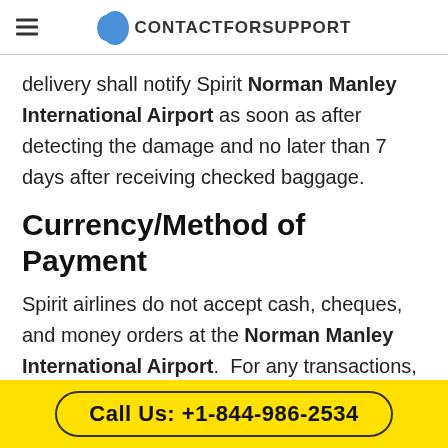CONTACTFORSUPPORT
delivery shall notify Spirit Norman Manley International Airport as soon as after detecting the damage and no later than 7 days after receiving checked baggage.
Currency/Method of Payment
Spirit airlines do not accept cash, cheques, and money orders at the Norman Manley International Airport.  For any transactions, only debits and credit cards would be accepted.
Call Us: +1-844-986-2534